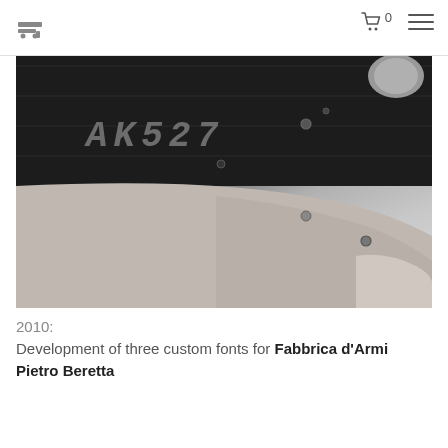Logo | Cart 0 | Menu
[Figure (photo): Close-up photo of a Beretta AK527 firearm receiver in dark/black finish showing the model name engraved, with a light grey/beige lower stock visible. High contrast black and white style photograph.]
2010:
Development of three custom fonts for Fabbrica d'Armi Pietro Beretta